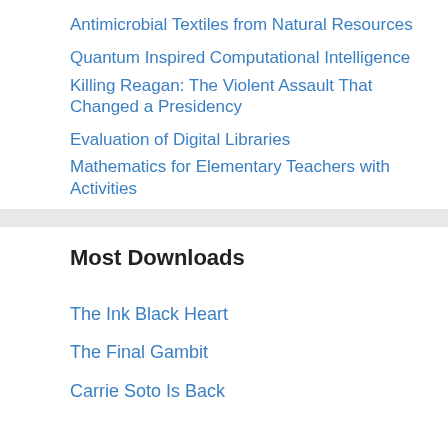Antimicrobial Textiles from Natural Resources
Quantum Inspired Computational Intelligence
Killing Reagan: The Violent Assault That Changed a Presidency
Evaluation of Digital Libraries
Mathematics for Elementary Teachers with Activities
Most Downloads
The Ink Black Heart
The Final Gambit
Carrie Soto Is Back